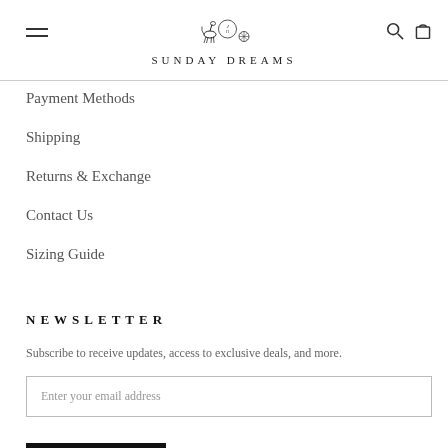SUNDAY DREAMS
Payment Methods
Shipping
Returns & Exchange
Contact Us
Sizing Guide
NEWSLETTER
Subscribe to receive updates, access to exclusive deals, and more.
Enter your email address